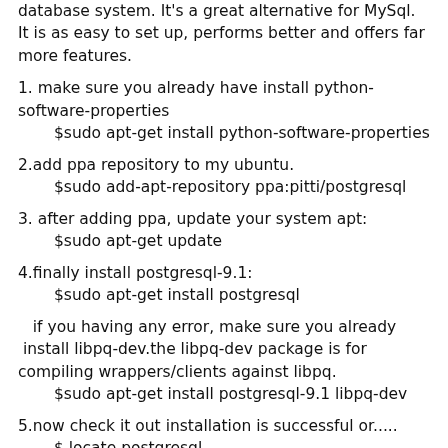database system. It's a great alternative for MySql. It is as easy to set up, performs better and offers far more features.
1. make sure you already have install python-software-properties
    $sudo apt-get install python-software-properties
2.add ppa repository to my ubuntu.
    $sudo add-apt-repository ppa:pitti/postgresql
3. after adding ppa, update your system apt:
    $sudo apt-get update
4.finally install postgresql-9.1:
    $sudo apt-get install postgresql
if you having any error, make sure you already  install libpq-dev.the libpq-dev package is for compiling wrappers/clients against libpq.
    $sudo apt-get install postgresql-9.1 libpq-dev
5.now check it out installation is successful or.....
    $ locate postgresql